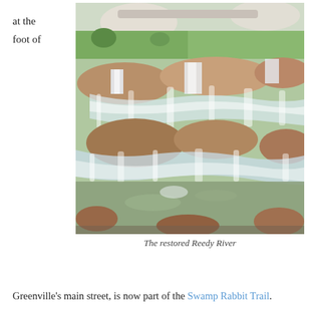at the
foot of
[Figure (photo): Photo of the restored Reedy River showing waterfalls cascading over rocky terrain with a bridge and park visible in the background]
The restored Reedy River
Greenville's main street, is now part of the Swamp Rabbit Trail.